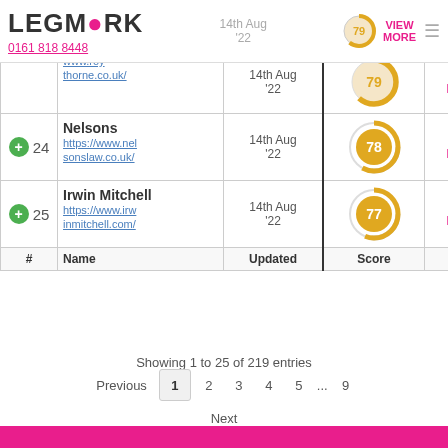LEGMARK | 0161 818 8448 | 14th Aug '22 | VIEW MORE
| # | Name | Updated | Score |  |
| --- | --- | --- | --- | --- |
|  | www.roy thorne.co.uk/ | 14th Aug '22 | 79 | VIEW MORE |
| 24 | Nelsons https://www.nelsonslaw.co.uk/ | 14th Aug '22 | 78 | VIEW MORE |
| 25 | Irwin Mitchell https://www.irwinmitchell.com/ | 14th Aug '22 | 77 | VIEW MORE |
| # | Name | Updated | Score |  |
Showing 1 to 25 of 219 entries
Previous 1 2 3 4 5 ... 9 Next